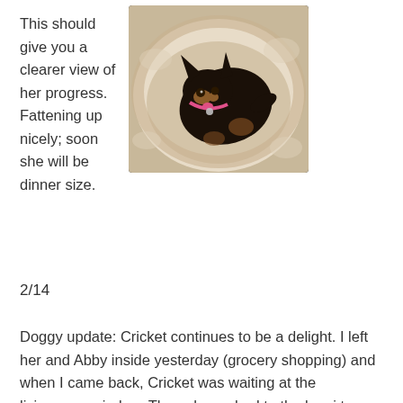This should give you a clearer view of her progress.  Fattening up nicely; soon she will be dinner size.
[Figure (photo): A small black and tan dog (Miniature Pinscher) curled up in a white fluffy dog bed, viewed from above. The dog has a pink collar and tag.]
2/14
Doggy update: Cricket continues to be a delight. I left her and Abby inside yesterday (grocery shopping) and when I came back, Cricket was waiting at the livingroom window. Then she rushed to the lanai to make sure I really was coming. Then